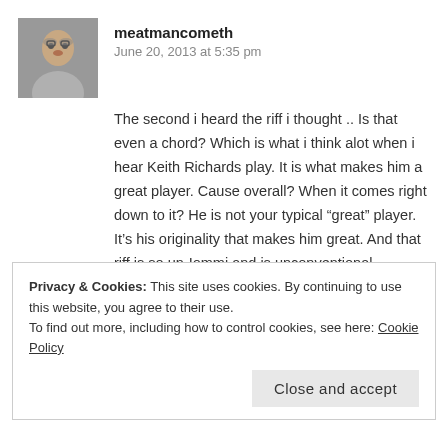meatmancometh
June 20, 2013 at 5:35 pm
The second i heard the riff i thought .. Is that even a chord? Which is what i think alot when i hear Keith Richards play. It is what makes him a great player. Cause overall? When it comes right down to it? He is not your typical “great” player. It’s his originality that makes him great. And that riff is so un-Iommi and is unconventional especially for him. All i wanted was for Sabbath to go back to the Blues on this album .. which they do brilliantly with Damaged Soul.
Privacy & Cookies: This site uses cookies. By continuing to use this website, you agree to their use.
To find out more, including how to control cookies, see here: Cookie Policy
Close and accept